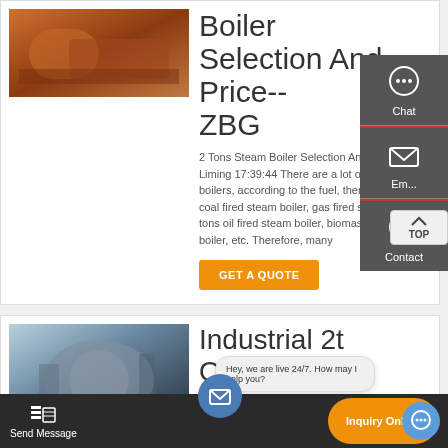[Figure (photo): Boiler product image, warm orange/brown tones]
Boiler Selection And Price-- ZBG
2 Tons Steam Boiler Selection And Price Liming 17:39:44 There are a lot of 2 tons steam boilers, according to the fuel, there are 2 tons coal fired steam boiler, gas fired steam boiler, 2 tons oil fired steam boiler, biomass steam boiler, etc. Therefore, many
GET A QUOTE
[Figure (photo): Industrial boiler equipment in facility, silver/grey cylindrical boiler]
Industrial 2t Oil
Hey, we are live 24/7. How may I help you?
Send Message
Inquiry Online